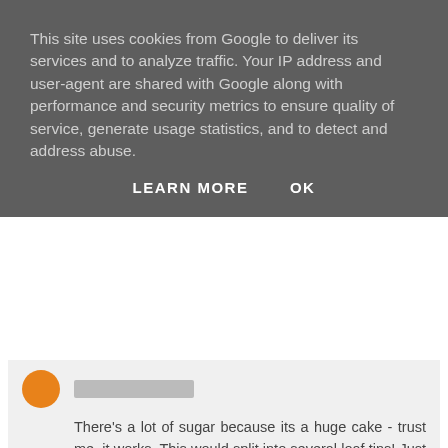This site uses cookies from Google to deliver its services and to analyze traffic. Your IP address and user-agent are shared with Google along with performance and security metrics to ensure quality of service, generate usage statistics, and to detect and address abuse.
LEARN MORE   OK
There's a lot of sugar because its a huge cake - trust me, it works. This would split into several loaf tins! Just make sure you only fill them about 3/4 full...
Reply
To leave a comment, click the button below to sign in with Google.
SIGN IN WITH GOOGLE